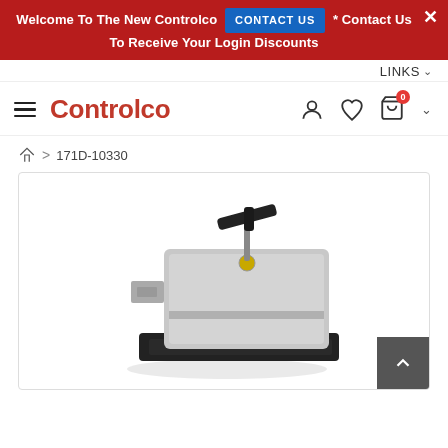Welcome To The New Controlco * CONTACT US * Contact Us To Receive Your Login Discounts
LINKS
Controlco
🏠 > 171D-10330
[Figure (photo): Product photo of a valve actuator device (model 171D-10330) with a black handle on top, gray body, and black mounting bracket base.]